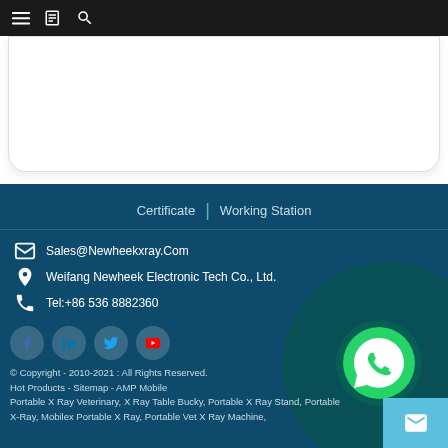[Figure (screenshot): Mobile website top navigation bar with hamburger menu, book icon, and search icon on dark background]
[Figure (screenshot): White card content area]
Certificate | Working Station
Sales@Newheekxray.Com
Weifang Newheek Electronic Tech Co., Ltd.
Tel:+86 536 8882360
[Figure (infographic): Social media icons: Facebook, LinkedIn, Twitter, YouTube]
[Figure (logo): WhatsApp icon with green circular background]
© Copyright - 2010-2021 : All Rights Reserved.
Hot Products - Sitemap - AMP Mobile
Portable X Ray Veterinary, X Ray Table Bucky, Portable X Ray Stand, Portable X-Ray, Mobilex Portable X Ray, Portable Vet X Ray Machine,